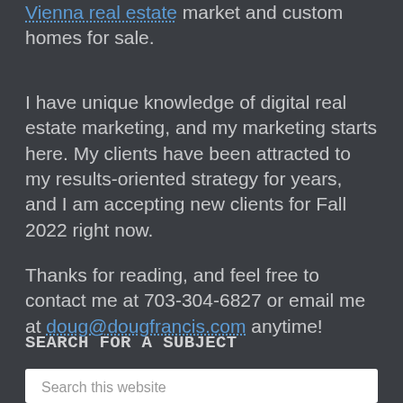Vienna real estate market and custom homes for sale.
I have unique knowledge of digital real estate marketing, and my marketing starts here. My clients have been attracted to my results-oriented strategy for years, and I am accepting new clients for Fall 2022 right now.
Thanks for reading, and feel free to contact me at 703-304-6827 or email me at doug@dougfrancis.com anytime!
SEARCH FOR A SUBJECT